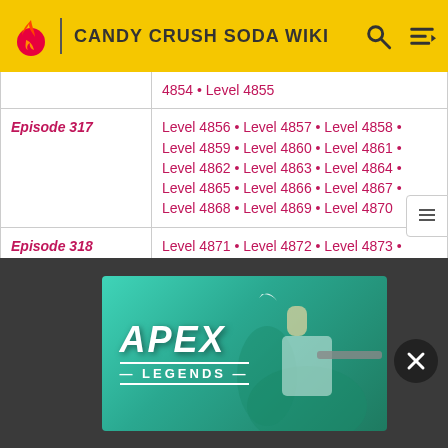CANDY CRUSH SODA WIKI
| Episode | Levels |
| --- | --- |
|  | 4854 • Level 4855 |
| Episode 317 | Level 4856 • Level 4857 • Level 4858 • Level 4859 • Level 4860 • Level 4861 • Level 4862 • Level 4863 • Level 4864 • Level 4865 • Level 4866 • Level 4867 • Level 4868 • Level 4869 • Level 4870 |
| Episode 318 | Level 4871 • Level 4872 • Level 4873 • Level 4874 • Level 4875 • Level 4876 • Level 4877 • Level 4878 • Level 4879 • Level 4880 • Level 4881 • Level 4882 • Level 4883 • Level 4884 |
| Episode 319 (partial) | Level 4886 • Level 4887 • Level 4888 • Level 4889 • Level 4890 • Level … |
[Figure (illustration): Apex Legends advertisement banner showing a character with a sniper rifle against a teal background with the text APEX LEGENDS]